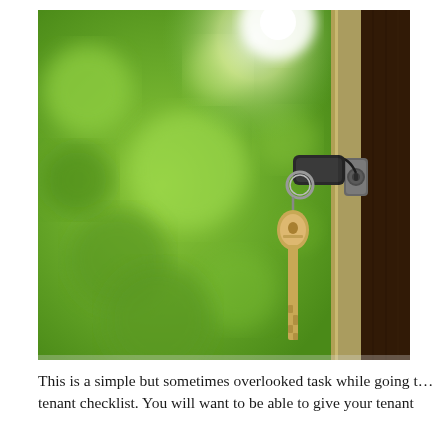[Figure (photo): A close-up photograph of a key inserted into a door lock. The key has a black fob/tag and a metal house key hanging on a keyring. The door is brown wood on the right side with a metallic lock cylinder. The background is a blurred green outdoor scene with bright sunlight in the upper portion.]
This is a simple but sometimes overlooked task while going t... tenant checklist. You will want to be able to give your tenant...